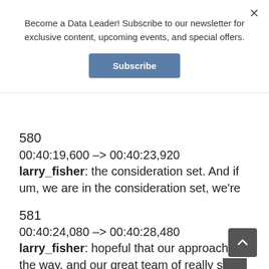Become a Data Leader! Subscribe to our newsletter for exclusive content, upcoming events, and special offers.
Subscribe
580
00:40:19,600 –> 00:40:23,920
larry_fisher: the consideration set. And if um, we are in the consideration set, we're
581
00:40:24,080 –> 00:40:28,480
larry_fisher: hopeful that our approach in the way, and our great team of really smart
582